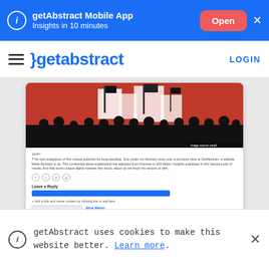getAbstract Mobile App – Insights in 10 minutes – Open
≡ }getabstract LOGIN
[Figure (screenshot): Screenshot of a getAbstract article page showing a protest crowd image on red background and an article with a chart]
JOIN GETABSTRACT TO ACCESS THE SUMMARY!
getAbstract uses cookies to make this website better. Learn more.